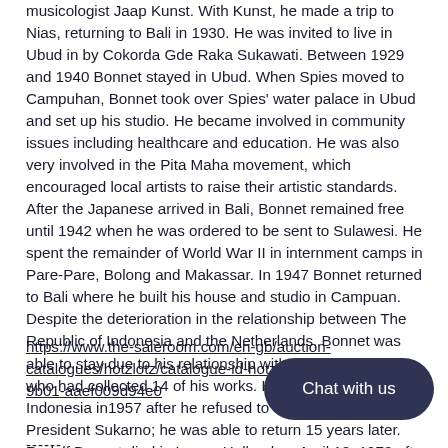musicologist Jaap Kunst. With Kunst, he made a trip to Nias, returning to Bali in 1930. He was invited to live in Ubud in by Cokorda Gde Raka Sukawati. Between 1929 and 1940 Bonnet stayed in Ubud. When Spies moved to Campuhan, Bonnet took over Spies' water palace in Ubud and set up his studio. He became involved in community issues including healthcare and education. He was also very involved in the Pita Maha movement, which encouraged local artists to raise their artistic standards. After the Japanese arrived in Bali, Bonnet remained free until 1942 when he was ordered to be sent to Sulawesi. He spent the remainder of World War II in internment camps in Pare-Pare, Bolong and Makassar. In 1947 Bonnet returned to Bali where he built his house and studio in Campuan. Despite the deterioration in the relationship between The Republic of Indonesia and the Netherlands, Bonnet was able to stay due to his relationship with President Sukarno who had collected 14 of his works. He was expelled from Indonesia in1957 after he refused to finish a portrait of President Sukarno; he was able to return 15 years later. Rudolf Bonnet died in Laren, Holland on April 18, 1978 after a long illness. His body was cremated, and the ashes were brought to Bali where they were burnt together in a great cremation ceremony with his friend Cokorda Gde Agung Sukawati.
https://www.the-saleroom.com/en-gb/auction-catalogues/hotzlotz/catalogue-id-hotzlo10004/lot…9b01-aaef009d94e0
------